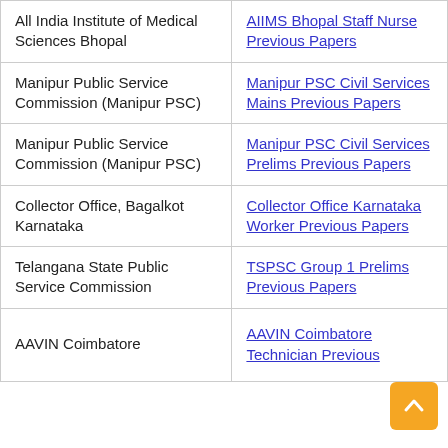| Organization | Link |
| --- | --- |
| All India Institute of Medical Sciences Bhopal | AIIMS Bhopal Staff Nurse Previous Papers |
| Manipur Public Service Commission (Manipur PSC) | Manipur PSC Civil Services Mains Previous Papers |
| Manipur Public Service Commission (Manipur PSC) | Manipur PSC Civil Services Prelims Previous Papers |
| Collector Office, Bagalkot Karnataka | Collector Office Karnataka Worker Previous Papers |
| Telangana State Public Service Commission | TSPSC Group 1 Prelims Previous Papers |
| AAVIN Coimbatore | AAVIN Coimbatore Technician Previous... |